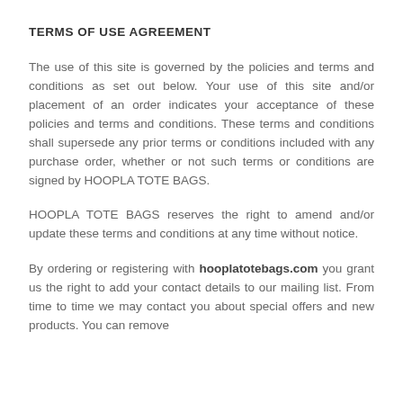TERMS OF USE AGREEMENT
The use of this site is governed by the policies and terms and conditions as set out below. Your use of this site and/or placement of an order indicates your acceptance of these policies and terms and conditions. These terms and conditions shall supersede any prior terms or conditions included with any purchase order, whether or not such terms or conditions are signed by HOOPLA TOTE BAGS.
HOOPLA TOTE BAGS reserves the right to amend and/or update these terms and conditions at any time without notice.
By ordering or registering with hooplatotebags.com you grant us the right to add your contact details to our mailing list. From time to time we may contact you about special offers and new products. You can remove yourself from our mailing list by with...